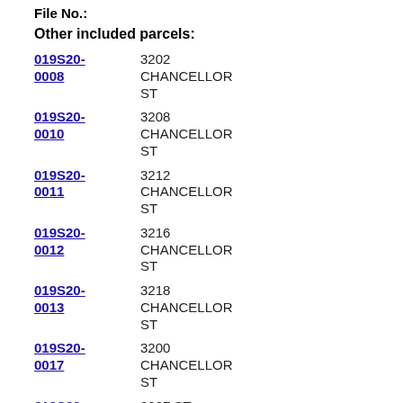File No.:
Other included parcels:
019S20-0008  3202 CHANCELLOR ST
019S20-0010  3208 CHANCELLOR ST
019S20-0011  3212 CHANCELLOR ST
019S20-0012  3216 CHANCELLOR ST
019S20-0013  3218 CHANCELLOR ST
019S20-0017  3200 CHANCELLOR ST
019S20-0018  3237 ST JAMES ST